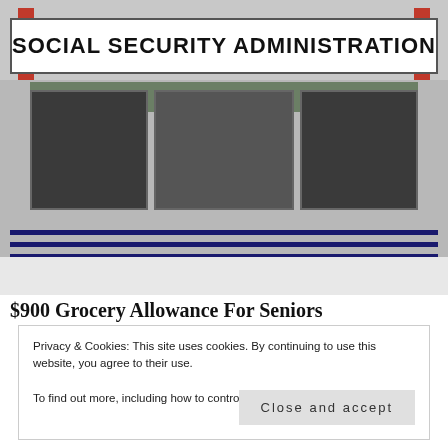[Figure (photo): Photograph of a Social Security Administration office building exterior. The building has a white sign banner reading 'SOCIAL SECURITY ADMINISTRATION' with red pillars on each side. The building facade is gray concrete with large glass doors and windows. A blue metal railing is visible in the foreground, and snow is visible on the ground.]
$900 Grocery Allowance For Seniors
Privacy & Cookies: This site uses cookies. By continuing to use this website, you agree to their use.
To find out more, including how to control cookies, see here: Cookie Policy
Close and accept